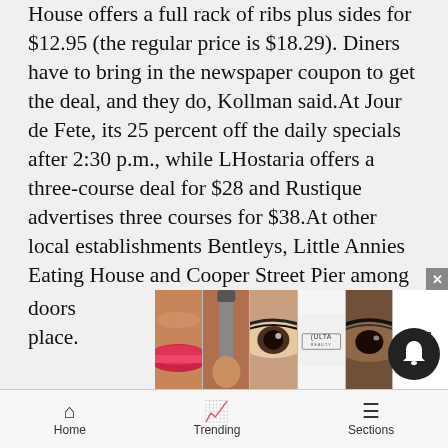House offers a full rack of ribs plus sides for $12.95 (the regular price is $18.29). Diners have to bring in the newspaper coupon to get the deal, and they do, Kollman said.At Jour de Fete, its 25 percent off the daily specials after 2:30 p.m., while LHostaria offers a three-course deal for $28 and Rustique advertises three courses for $38.At other local establishments Bentleys, Little Annies Eating House and Cooper Street Pier among them its simply business as usual. Theyre open seven days a week for their loyal regulars.Count New York Pizza among the mainstays of the offseason dining scene. The popular by-the-pie-or-by-the-slice eatery is open six days a week through the slowdown, though owner Kevin Jones admits its not worthwhile, financially, to keep the doors place.
[Figure (photo): Advertisement banner showing beauty/makeup faces and ULTA logo with SHOP NOW button]
Home   Trending   Sections